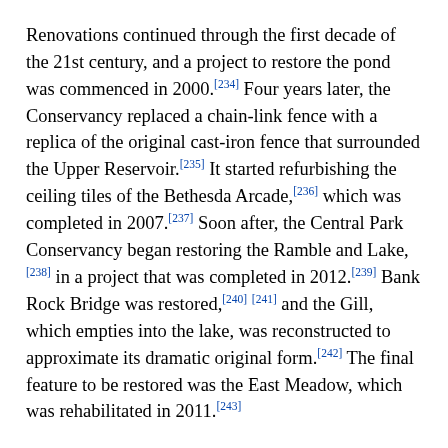Renovations continued through the first decade of the 21st century, and a project to restore the pond was commenced in 2000.[234] Four years later, the Conservancy replaced a chain-link fence with a replica of the original cast-iron fence that surrounded the Upper Reservoir.[235] It started refurbishing the ceiling tiles of the Bethesda Arcade,[236] which was completed in 2007.[237] Soon after, the Central Park Conservancy began restoring the Ramble and Lake,[238] in a project that was completed in 2012.[239] Bank Rock Bridge was restored,[240] [241] and the Gill, which empties into the lake, was reconstructed to approximate its dramatic original form.[242] The final feature to be restored was the East Meadow, which was rehabilitated in 2011.[243]
2010s to present